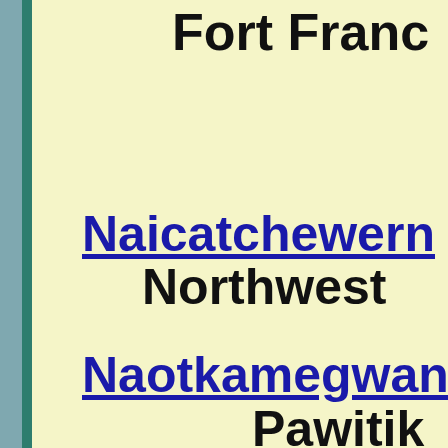Fort France
Naicatchewenin Northwest
Naotkamegwanning Pawitik
Nigigoonsiminikaaning